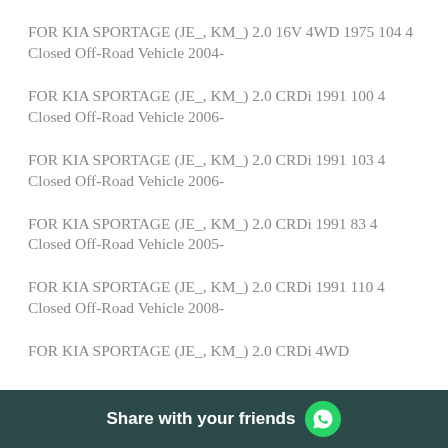FOR KIA SPORTAGE (JE_, KM_) 2.0 16V 4WD 1975 104 4 Closed Off-Road Vehicle 2004-
FOR KIA SPORTAGE (JE_, KM_) 2.0 CRDi 1991 100 4 Closed Off-Road Vehicle 2006-
FOR KIA SPORTAGE (JE_, KM_) 2.0 CRDi 1991 103 4 Closed Off-Road Vehicle 2006-
FOR KIA SPORTAGE (JE_, KM_) 2.0 CRDi 1991 83 4 Closed Off-Road Vehicle 2005-
FOR KIA SPORTAGE (JE_, KM_) 2.0 CRDi 1991 110 4 Closed Off-Road Vehicle 2008-
FOR KIA SPORTAGE (JE_, KM_) 2.0 CRDi 4WD
Share with your friends